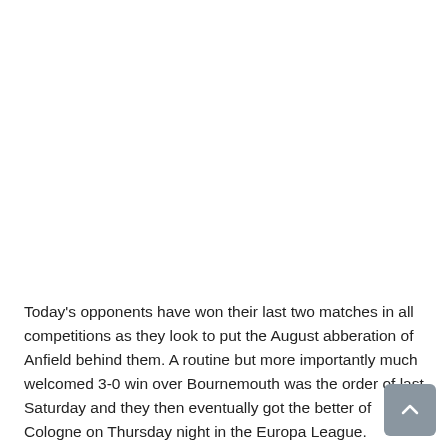Today's opponents have won their last two matches in all competitions as they look to put the August abberation of Anfield behind them. A routine but more importantly much welcomed 3-0 win over Bournemouth was the order of last Saturday and they then eventually got the better of Cologne on Thursday night in the Europa League.